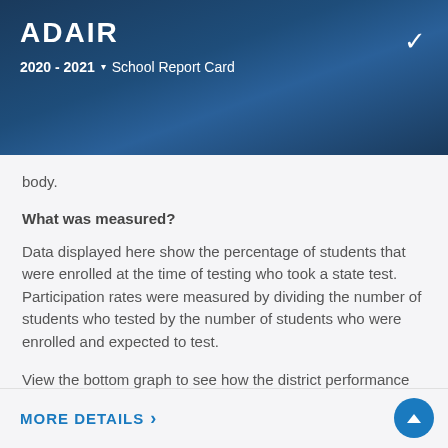ADAIR
2020 - 2021 ▾  School Report Card
body.
What was measured?
Data displayed here show the percentage of students that were enrolled at the time of testing who took a state test. Participation rates were measured by dividing the number of students who tested by the number of students who were enrolled and expected to test.
View the bottom graph to see how the district performance compares to other Oklahoma schools.
MORE DETAILS >